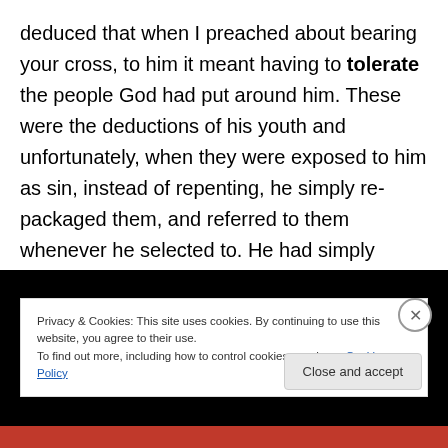deduced that when I preached about bearing your cross, to him it meant having to tolerate the people God had put around him. These were the deductions of his youth and unfortunately, when they were exposed to him as sin, instead of repenting, he simply re-packaged them, and referred to them whenever he selected to. He had simply learnt the art of smoothness and coupled it together with the art of Christianity, and convinced himself that his generosity and helps proved he was a Christian.
[Figure (screenshot): Dark image strip with a teal/green rounded button shape visible at the top]
Privacy & Cookies: This site uses cookies. By continuing to use this website, you agree to their use.
To find out more, including how to control cookies, see here: Cookie Policy
Close and accept